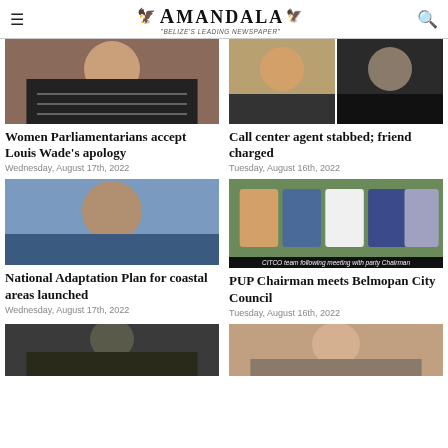AMANDALA – "BELIZE'S LEADING NEWSPAPER"
[Figure (photo): Cropped photo of a woman in a striped top, necklace visible]
Women Parliamentarians accept Louis Wade's apology
Wednesday, August 17th, 2022
[Figure (photo): Two cropped mugshot-style photos of men side by side]
Call center agent stabbed; friend charged
Tuesday, August 16th, 2022
[Figure (photo): Close-up photo of a man's face against a blue/flag background]
National Adaptation Plan for coastal areas launched
Wednesday, August 17th, 2022
[Figure (photo): Group photo of people standing together; caption reads: CITCO team following meeting with party Chairman]
PUP Chairman meets Belmopan City Council
Tuesday, August 16th, 2022
[Figure (photo): Cropped close-up photo of a young man's face]
[Figure (photo): Cropped photo of a man's face in profile or slight angle]